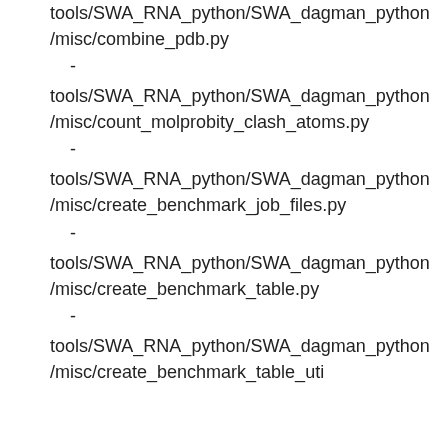tools/SWA_RNA_python/SWA_dagman_python/misc/combine_pdb.py
tools/SWA_RNA_python/SWA_dagman_python/misc/count_molprobity_clash_atoms.py
tools/SWA_RNA_python/SWA_dagman_python/misc/create_benchmark_job_files.py
tools/SWA_RNA_python/SWA_dagman_python/misc/create_benchmark_table.py
tools/SWA_RNA_python/SWA_dagman_python/misc/create_benchmark_table_uti